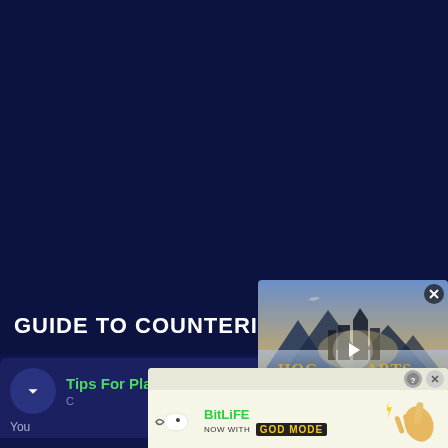[Figure (screenshot): Dark navy blue background taking up majority of the page, appears to be a website/game guide page]
GUIDE TO COUNTERING GANGPI
[Figure (screenshot): Video overlay thumbnail showing Hogwarts Legacy game scene with mountains, castle, and play button in center. Close button at top right.]
Tips For Playing As Au
[Figure (screenshot): BitLife advertisement banner with sperm logo, 'NOW WITH GOD MODE' text in yellow on dark background, pointing hand graphic, help and close buttons]